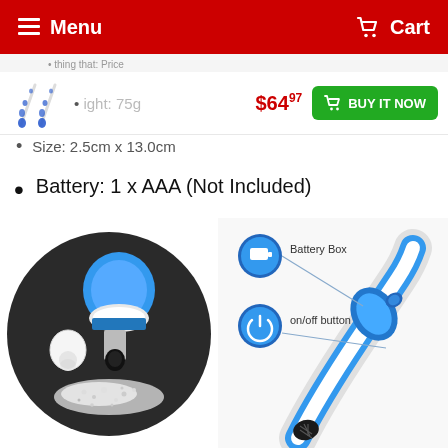≡ Menu   🛒 Cart
Weight: 75g
$64.97
🛒 BUY IT NOW
Size: 2.5cm x 13.0cm
Battery: 1 x AAA (Not Included)
[Figure (photo): Close-up circle photo showing blue electric eraser tip detached from cap with eraser shavings on dark surface]
[Figure (photo): Diagram of electric eraser showing labeled parts: Battery Box and on/off button, with the blue and white device body visible]